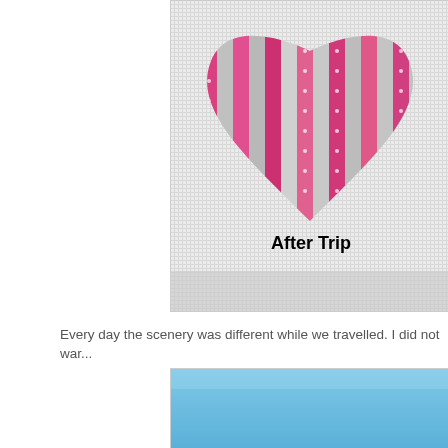[Figure (photo): Cropped view of a needlepoint canvas featuring a heart shape made of alternating pink/magenta stripes and gray patterned bands on a white mesh background. Bold black text reads 'After Trip' overlaid on the lower portion of the heart.]
Every day the scenery was different while we travelled. I did not war...
[Figure (photo): Bottom portion of a photo showing a blue sky, partially cropped.]